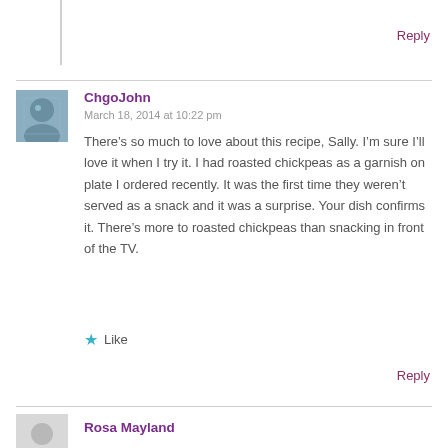Reply
ChgoJohn
March 18, 2014 at 10:22 pm
There’s so much to love about this recipe, Sally. I’m sure I’ll love it when I try it. I had roasted chickpeas as a garnish on plate I ordered recently. It was the first time they weren’t served as a snack and it was a surprise. Your dish confirms it. There’s more to roasted chickpeas than snacking in front of the TV.
Like
Reply
Rosa Mayland